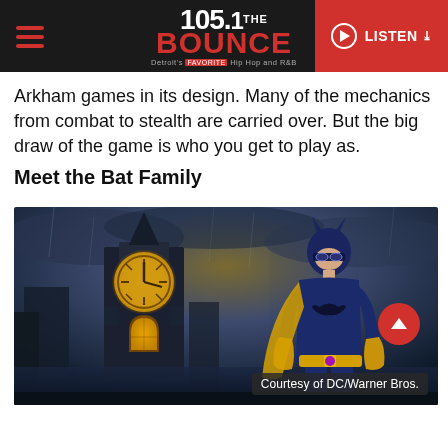105.1 THE BOUNCE — Detroit's Hip Hop and R&B | LISTEN
Arkham games in its design. Many of the mechanics from combat to stealth are carried over. But the big draw of the game is who you get to play as.
Meet the Bat Family
[Figure (photo): Batgirl character in blue and gold costume standing in front of a clock tower at night in a dark, moody, rainy scene from the Gotham Knights game.]
Courtesy of DC/Warner Bros.